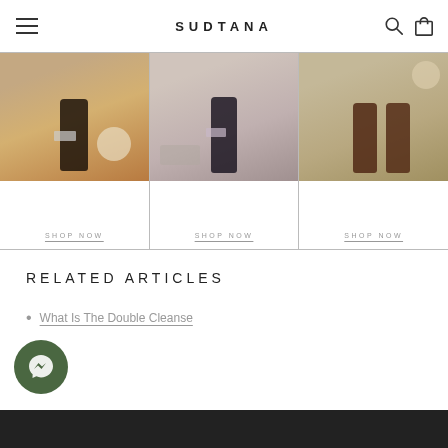SUDTANA
[Figure (photo): Three product panels each showing Sudtana skincare bottles with a SHOP NOW link below]
RELATED ARTICLES
What Is The Double Cleanse
[Figure (illustration): Messenger chat button - dark olive green circular icon]